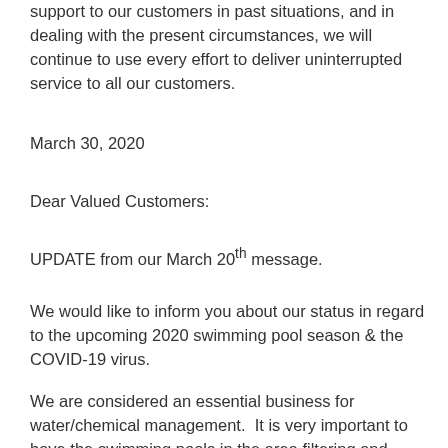support to our customers in past situations, and in dealing with the present circumstances, we will continue to use every effort to deliver uninterrupted service to all our customers.
March 30, 2020
Dear Valued Customers:
UPDATE from our March 20th message.
We would like to inform you about our status in regard to the upcoming 2020 swimming pool season & the COVID-19 virus.
We are considered an essential business for water/chemical management. It is very important to have the swimming pools in the area filtering and chemically treated to reduce problems with insects